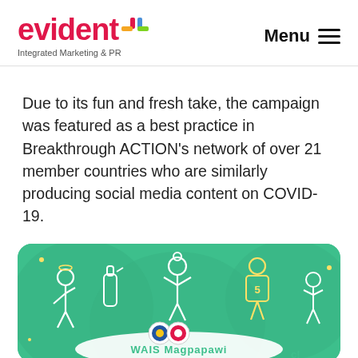evident+ Integrated Marketing & PR | Menu
Due to its fun and fresh take, the campaign was featured as a best practice in Breakthrough ACTION's network of over 21 member countries who are similarly producing social media content on COVID-19.
[Figure (illustration): Green illustrated image with cartoon figures and two circular logos/seals, with text 'WAIS Magpapawic!' at the bottom on a white brush stroke. Part of a social media campaign graphic.]